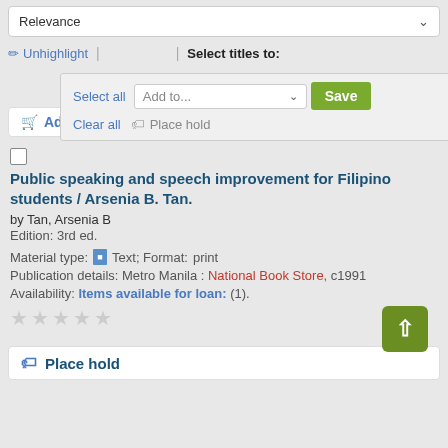[Figure (screenshot): Relevance dropdown selector at top of search results page]
Unhighlight | Select titles to: Select all | Add to... Save | Clear all | Place hold
Add to cart
Public speaking and speech improvement for Filipino students / Arsenia B. Tan.
by Tan, Arsenia B
Edition: 3rd ed.
Material type: Text; Format: print
Publication details: Metro Manila : National Book Store, c1991
Availability: Items available for loan: (1).
Place hold